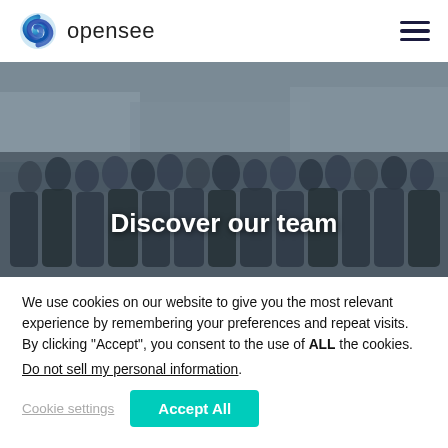[Figure (logo): Opensee logo with blue swirl icon and text 'opensee']
[Figure (photo): Group photo of the Opensee team standing outdoors near a waterfront, with text overlay 'Discover our team']
Discover our team
We use cookies on our website to give you the most relevant experience by remembering your preferences and repeat visits. By clicking “Accept”, you consent to the use of ALL the cookies.
Do not sell my personal information.
Cookie settings   Accept All